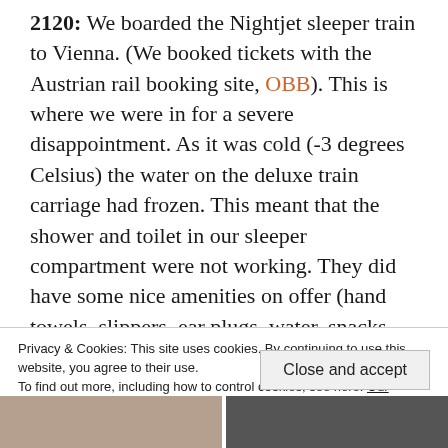2120: We boarded the Nightjet sleeper train to Vienna. (We booked tickets with the Austrian rail booking site, OBB). This is where we were in for a severe disappointment. As it was cold (-3 degrees Celsius) the water on the deluxe train carriage had frozen. This meant that the shower and toilet in our sleeper compartment were not working. They did have some nice amenities on offer (hand towels, slippers, ear plugs, water, snacks and sparkling wine) which made up a little for the lack of shower and bathroom.
Privacy & Cookies: This site uses cookies. By continuing to use this website, you agree to their use.
To find out more, including how to control cookies, see here: Our Cookie Policy
[Figure (photo): Two partial photos side by side at the bottom of the page — left shows food/snacks, right shows a dark interior scene]